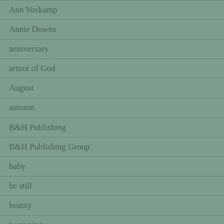Ann Voskamp
Annie Downs
anniversary
armor of God
August
autumn
B&H Publishing
B&H Publishing Group
baby
be still
beauty
beginning